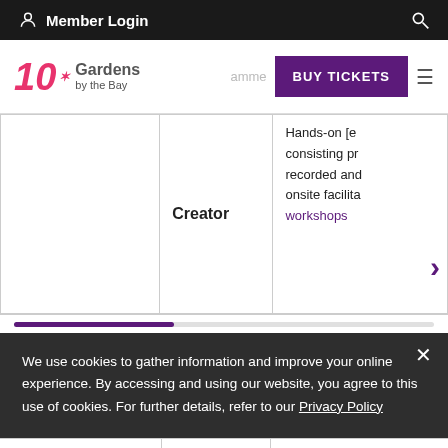Member Login
[Figure (logo): Gardens by the Bay 10th anniversary logo with BUY TICKETS button and hamburger menu]
|  | Creator | Description |
| --- | --- | --- |
|  | Creator | Hands-on [programme] consisting pre[recorded] and onsite facilita[ted] workshops |
We use cookies to gather information and improve your online experience. By accessing and using our website, you agree to this use of cookies. For further details, refer to our Privacy Policy
activity grid